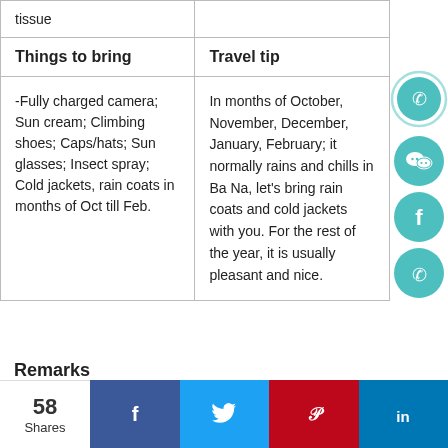| Things to bring | Travel tip |
| --- | --- |
| tissue |  |
| Things to bring | Travel tip |
| -Fully charged camera; Sun cream; Climbing shoes; Caps/hats; Sun glasses; Insect spray; Cold jackets, rain coats in months of Oct till Feb. | In months of October, November, December, January, February; it normally rains and chills in Ba Na, let's bring rain coats and cold jackets with you. For the rest of the year, it is usually pleasant and nice. |
Remarks
Tour departs from Chan May port in Hue or Tien Sa port
[Figure (infographic): Social sharing icons: WhatsApp, WeChat, Facebook, WhatsApp]
58 Shares | Facebook | Twitter | Pinterest | LinkedIn